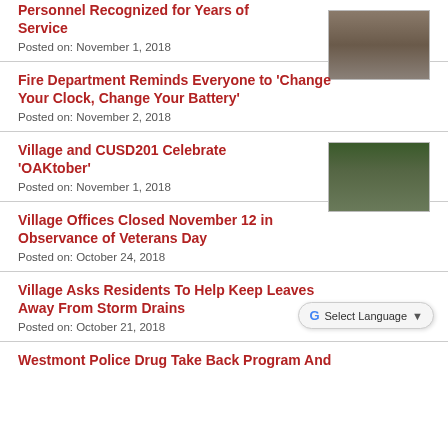Personnel Recognized for Years of Service
Posted on: November 1, 2018
Fire Department Reminds Everyone to ‘Change Your Clock, Change Your Battery’
Posted on: November 2, 2018
Village and CUSD201 Celebrate ‘OAKtober’
Posted on: November 1, 2018
Village Offices Closed November 12 in Observance of Veterans Day
Posted on: October 24, 2018
Village Asks Residents To Help Keep Leaves Away From Storm Drains
Posted on: October 21, 2018
Westmont Police Drug Take Back Program And